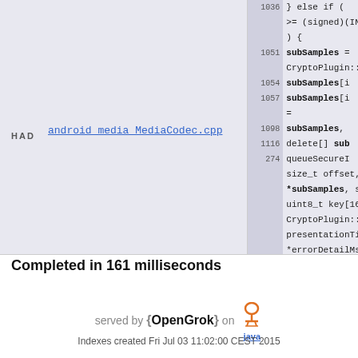[Figure (screenshot): Code search result panel showing android_media_MediaCodec.cpp with line numbers 1036, 1051, 1054, 1057, 1098, 1116, 274 and code snippets including subSamples, delete[], queueSecureI, CryptoPlugin::Mode, presentationTimeUs, errorDetailMsg with [all...] link. Left panel shows HAD label and filename link.]
Completed in 161 milliseconds
served by {OpenGrok} on Java
Indexes created Fri Jul 03 11:02:00 CEST 2015